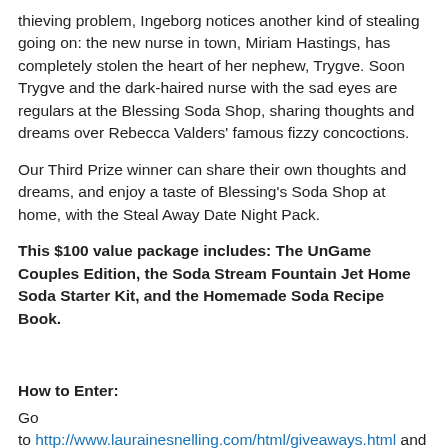thieving problem, Ingeborg notices another kind of stealing going on: the new nurse in town, Miriam Hastings, has completely stolen the heart of her nephew, Trygve. Soon Trygve and the dark-haired nurse with the sad eyes are regulars at the Blessing Soda Shop, sharing thoughts and dreams over Rebecca Valders' famous fizzy concoctions.
Our Third Prize winner can share their own thoughts and dreams, and enjoy a taste of Blessing's Soda Shop at home, with the Steal Away Date Night Pack.
This $100 value package includes: The UnGame Couples Edition, the Soda Stream Fountain Jet Home Soda Starter Kit, and the Homemade Soda Recipe Book.
How to Enter:
Go to http://www.laurainesnelling.com/html/giveaways.html and complete the entry box, anytime between October 14 and